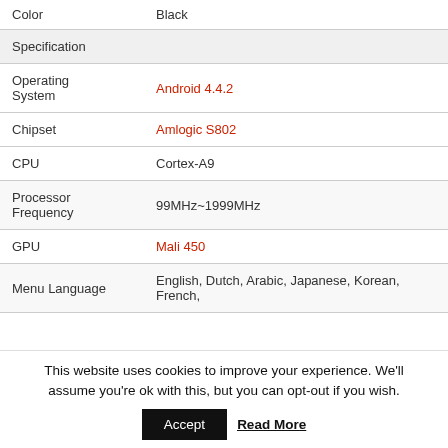| Property | Value |
| --- | --- |
| Color | Black |
| Specification |  |
| Operating System | Android 4.4.2 |
| Chipset | Amlogic S802 |
| CPU | Cortex-A9 |
| Processor Frequency | 99MHz~1999MHz |
| GPU | Mali 450 |
| Menu Language | English, Dutch, Arabic, Japanese, Korean, French, |
This website uses cookies to improve your experience. We'll assume you're ok with this, but you can opt-out if you wish.
Accept   Read More